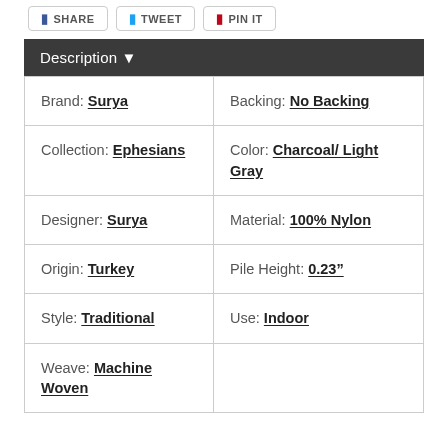| Description ▼ |  |
| --- | --- |
| Brand: Surya | Backing: No Backing |
| Collection: Ephesians | Color: Charcoal/ Light Gray |
| Designer: Surya | Material: 100% Nylon |
| Origin: Turkey | Pile Height: 0.23" |
| Style: Traditional | Use: Indoor |
| Weave: Machine Woven |  |